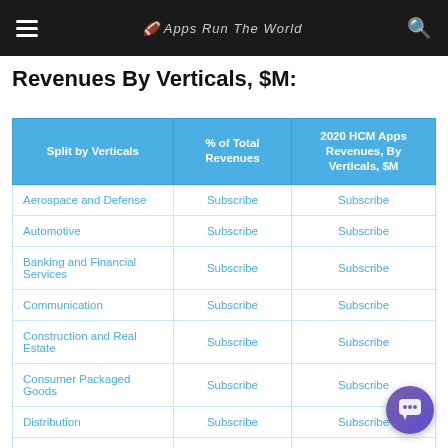Apps Run The World
Revenues By Verticals, $M:
| Split by Verticals | % of Total Revenues | 2020 HCM Apps Revenues, By Verticals, $M |
| --- | --- | --- |
| Aerospace and Defense | Subscribe | Subscribe |
| Automotive | Subscribe | Subscribe |
| Banking and Financial Services | Subscribe | Subscribe |
| Communication | Subscribe | Subscribe |
| Construction and Real Estate | Subscribe | Subscribe |
| Consumer Packaged Goods | Subscribe | Subscribe |
| Distribution | Subscribe | Subscribe |
| Education | Subscribe | Subscribe |